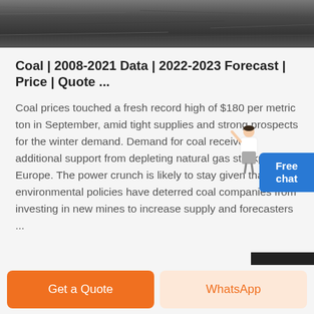[Figure (photo): Dark stone or coal texture background image strip at top of page]
Coal | 2008-2021 Data | 2022-2023 Forecast | Price | Quote ...
Coal prices touched a fresh record high of $180 per metric ton in September, amid tight supplies and strong prospects for the winter demand. Demand for coal received additional support from depleting natural gas stockpiles in Europe. The power crunch is likely to stay given that environmental policies have deterred coal companies from investing in new mines to increase supply and forecasters ...
Get a Quote | WhatsApp